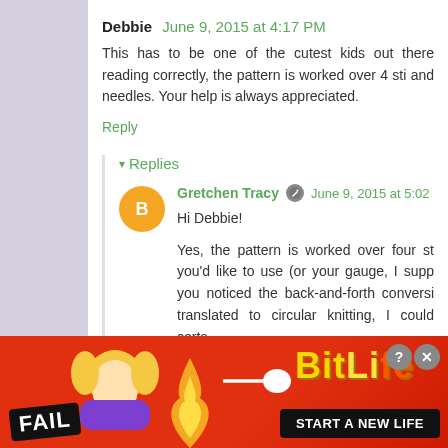Debbie  June 9, 2015 at 4:17 PM
This has to be one of the cutest kids out there reading correctly, the pattern is worked over 4 sti and needles. Your help is always appreciated.
Reply
▾ Replies
Gretchen Tracy  June 9, 2015 at 5:02
Hi Debbie!
Yes, the pattern is worked over four st you'd like to use (or your gauge, I supp you noticed the back-and-forth conversi translated to circular knitting, I could certa
[Figure (infographic): Advertisement banner for BitLife game with FAIL text, animated character, flames, BitLife logo, and 'START A NEW LIFE' button]